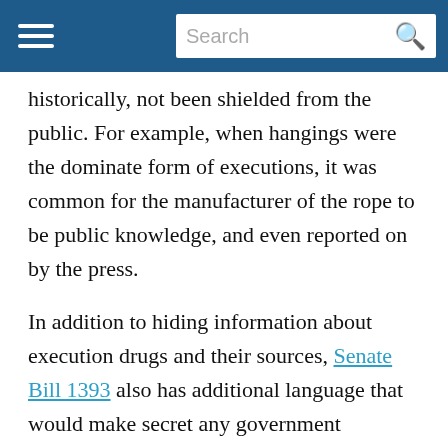Search
historically, not been shielded from the public. For example, when hangings were the dominate form of executions, it was common for the manufacturer of the rope to be public knowledge, and even reported on by the press.
In addition to hiding information about execution drugs and their sources, Senate Bill 1393 also has additional language that would make secret any government investigations into pharmacies that produce the drugs. The bill states that “Any documents or information related to any such inspection or investigation conducted by the Board of Pharmacy shall be confidential, shall be exempt